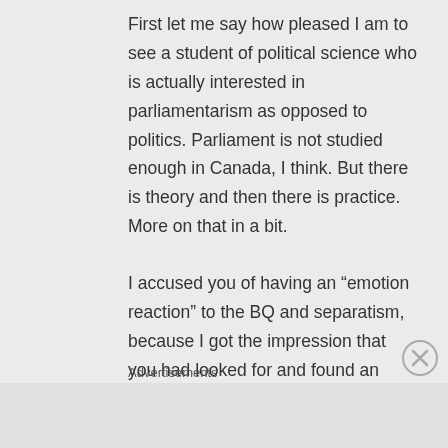First let me say how pleased I am to see a student of political science who is actually interested in parliamentarism as opposed to politics. Parliament is not studied enough in Canada, I think. But there is theory and then there is practice. More on that in a bit.
I accused you of having an “emotion reaction” to the BQ and separatism, because I got the impression that you had looked for and found an argument to support your point of
Advertisements